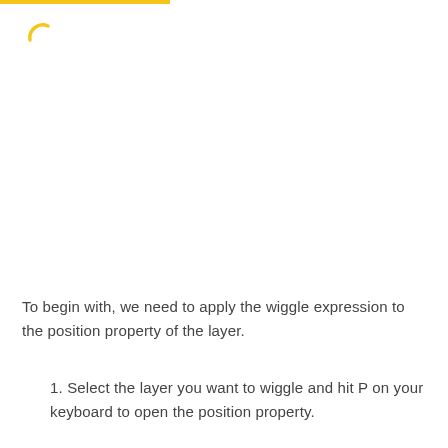[Figure (illustration): Yellow curved arrow or loading indicator icon in the upper left area]
To begin with, we need to apply the wiggle expression to the position property of the layer.
1. Select the layer you want to wiggle and hit P on your keyboard to open the position property.